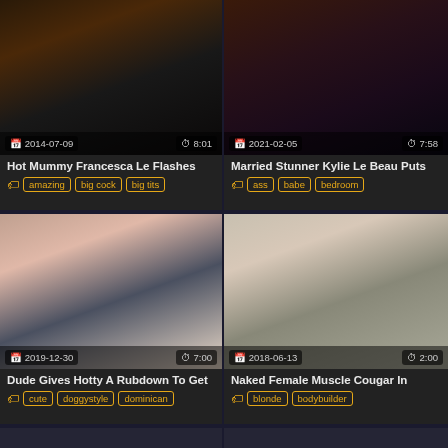[Figure (photo): Thumbnail image with date 2014-07-09 and duration 8:01]
Hot Mummy Francesca Le Flashes
amazing  big cock  big tits
[Figure (photo): Thumbnail image with date 2021-02-05 and duration 7:58]
Married Stunner Kylie Le Beau Puts
ass  babe  bedroom
[Figure (photo): Thumbnail image with date 2019-12-30 and duration 7:00]
Dude Gives Hotty A Rubdown To Get
cute  doggystyle  dominican
[Figure (photo): Thumbnail image with date 2018-06-13 and duration 2:00]
Naked Female Muscle Cougar In
blonde  bodybuilder